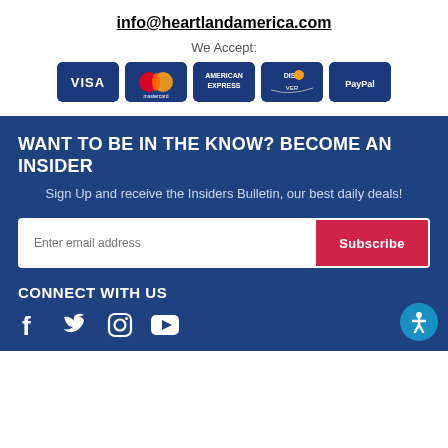info@heartlandamerica.com
We Accept:
[Figure (logo): Payment method icons: VISA, Mastercard, American Express, Discover, PayPal — all displayed as white text on dark blue rounded rectangles]
WANT TO BE IN THE KNOW? BECOME AN INSIDER
Sign Up and receive the Insiders Bulletin, our best daily deals!
Enter email address
Subscribe
CONNECT WITH US
[Figure (illustration): Social media icons: Facebook, Twitter, Instagram, YouTube — displayed in white on dark blue background]
[Figure (illustration): Accessibility icon button (person with circle) in the bottom-right corner]